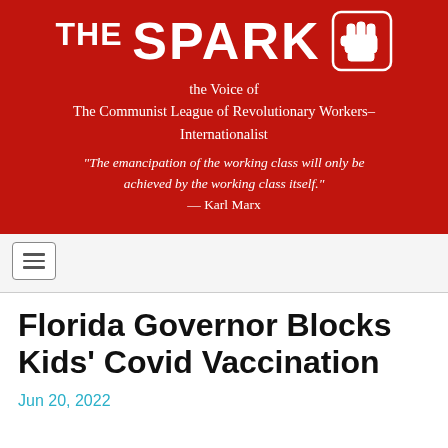[Figure (logo): The Spark newspaper logo with raised fist icon on red background]
the Voice of
The Communist League of Revolutionary Workers–Internationalist
"The emancipation of the working class will only be achieved by the working class itself."
— Karl Marx
[Figure (other): Hamburger navigation menu button]
Florida Governor Blocks Kids' Covid Vaccination
Jun 20, 2022